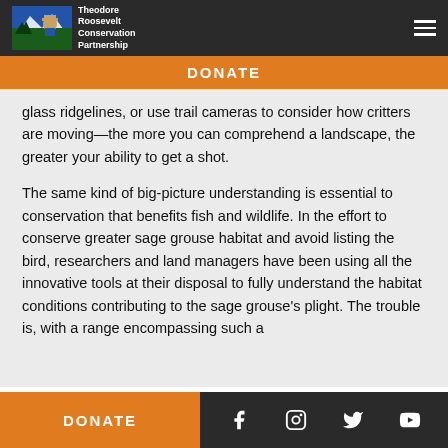Theodore Roosevelt Conservation Partnership
DONATE
glass ridgelines, or use trail cameras to consider how critters are moving—the more you can comprehend a landscape, the greater your ability to get a shot.
The same kind of big-picture understanding is essential to conservation that benefits fish and wildlife. In the effort to conserve greater sage grouse habitat and avoid listing the bird, researchers and land managers have been using all the innovative tools at their disposal to fully understand the habitat conditions contributing to the sage grouse's plight. The trouble is, with a range encompassing such a
DONATE